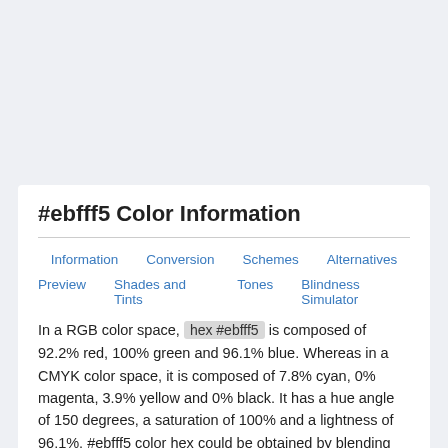#ebfff5 Color Information
Information
Conversion
Schemes
Alternatives
Preview
Shades and Tints
Tones
Blindness Simulator
In a RGB color space, hex #ebfff5 is composed of 92.2% red, 100% green and 96.1% blue. Whereas in a CMYK color space, it is composed of 7.8% cyan, 0% magenta, 3.9% yellow and 0% black. It has a hue angle of 150 degrees, a saturation of 100% and a lightness of 96.1%. #ebfff5 color hex could be obtained by blending #ffffff